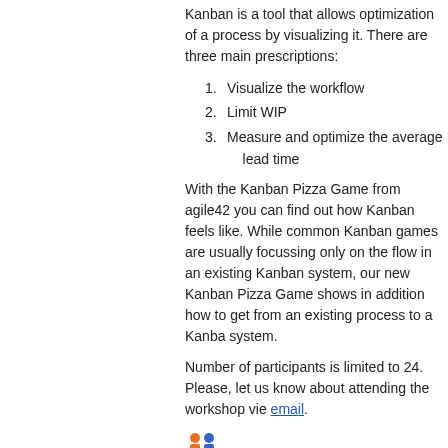Kanban is a tool that allows optimization of a process by visualizing it. There are three main prescriptions:
1. Visualize the workflow
2. Limit WIP
3. Measure and optimize the average lead time
With the Kanban Pizza Game from agile42 you can find out how Kanban feels like. While common Kanban games are usually focussing only on the flow in an existing Kanban system, our new Kanban Pizza Game shows in addition how to get from an existing process to a Kanban system.
Number of participants is limited to 24. Please, let us know about attending the workshop vie e-mail.
[Figure (illustration): Small icon showing two figures/people in orange and blue colors]